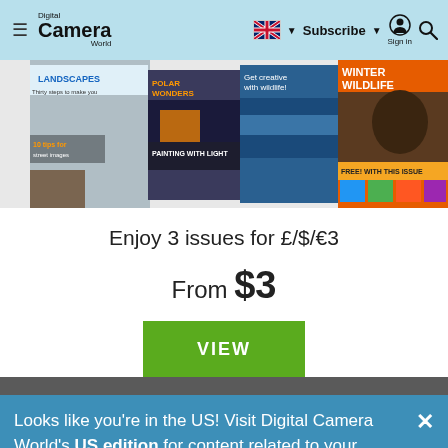Digital Camera World — Subscribe | Sign in
[Figure (photo): Magazine covers strip showing Digital Camera World issues with landscapes, wildlife, and photography topics]
Enjoy 3 issues for £/$/€3
From $3
VIEW
Looks like you're in the US! Visit Digital Camera World's US edition for content related to your region.